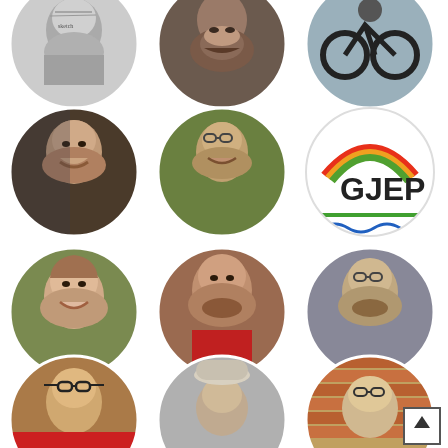[Figure (photo): Grid of 12 circular profile photos and one GJEP organization logo arranged in 4 rows of 3 columns. Row 1 (partial, top): black-and-white sketch portrait, bearded man in dark tones, cyclist silhouette. Row 2: young bearded dark-haired man smiling, middle-aged man with glasses outdoors, GJEP logo (colorful arc rainbow with text GJEP and wavy blue lines). Row 3: smiling short-haired woman outdoors, smiling bearded man in red shirt, young man with beard and glasses. Row 4 (partial, bottom): man with glasses in cartoon style, man with hat seen from angle, older bald man with glasses against brick wall. Arrow-up button in bottom-right corner.]